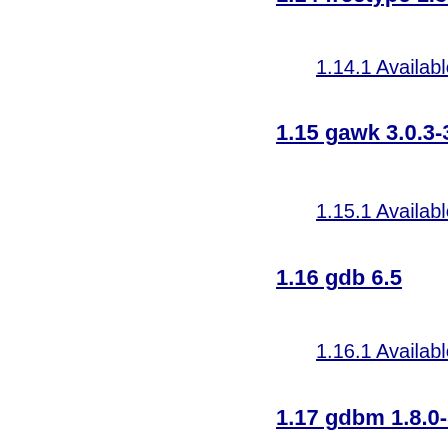1.14 freetype 1.3.1
1.14.1 Available unde
1.15 gawk 3.0.3-3
1.15.1 Available unde
1.16 gdb 6.5
1.16.1 Available unde
1.17 gdbm 1.8.0-3
1.17.1 Available unde
1.18 glibc 2.2.1-1
1.18.1 Available unde
1.19 grep 2.2.1-1
1.19.1 Available unde
1.20 hdparm 7.7
1.20.1 Available unde